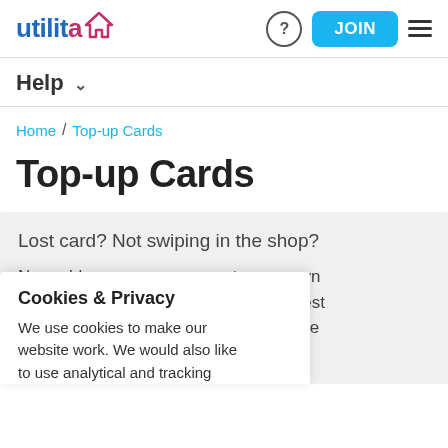utilita [logo] ? JOIN ≡
Help ˅
Home / Top-up Cards
Top-up Cards
Lost card? Not swiping in the shop?

No problem, you can generate your own, or request t fill in the d.
Cookies & Privacy
We use cookies to make our website work. We would also like to use analytical and tracking